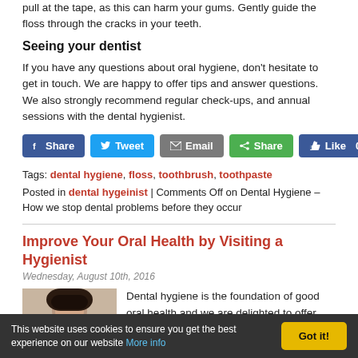pull at the tape, as this can harm your gums. Gently guide the floss through the cracks in your teeth.
Seeing your dentist
If you have any questions about oral hygiene, don’t hesitate to get in touch. We are happy to offer tips and answer questions. We also strongly recommend regular check-ups, and annual sessions with the dental hygienist.
[Figure (other): Social sharing buttons: Facebook Share, Twitter Tweet, Email, Share (green), and a Facebook Like counter showing 0]
Tags: dental hygiene, floss, toothbrush, toothpaste
Posted in dental hygeinist | Comments Off on Dental Hygiene – How we stop dental problems before they occur
Improve Your Oral Health by Visiting a Hygienist
Wednesday, August 10th, 2016
[Figure (photo): Photo of a young woman with dark hair, cropped to show face and upper shoulders]
Dental hygiene is the foundation of good oral health and we are delighted to offer clients a range of hygiene
This website uses cookies to ensure you get the best experience on our website More info